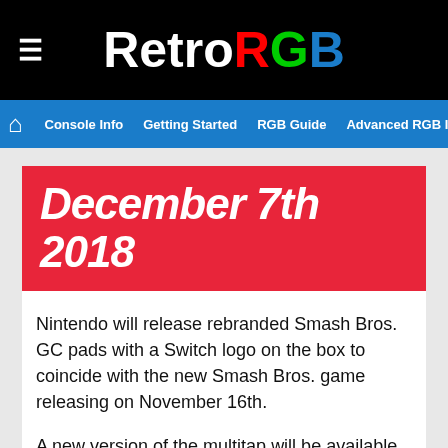RetroRGB
Console Info | Getting Started | RGB Guide | Advanced RGB Info | Ab
December 7th 2018
Nintendo will release rebranded Smash Bros. GC pads with a Switch logo on the box to coincide with the new Smash Bros. game releasing on November 16th.
A new version of the multitap will be available on December 7th, but there’s no confirmation if it will be USB or wireless.  My guess is this is just a rebranded version of Wii U adapter with the USB ports.